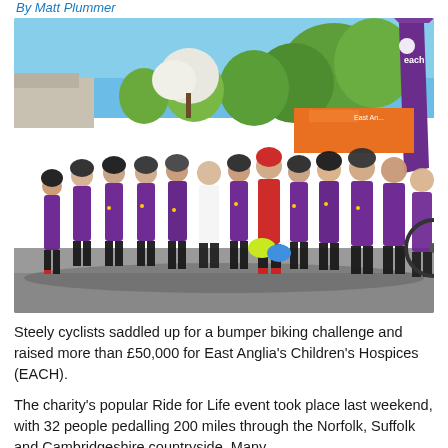By Matt Plummer
[Figure (photo): Large group of cyclists wearing purple 'Ride for Life' jerseys and cycling gear posing together outdoors in a car park. A purple 'each' (East Anglia's Children's Hospices) feather banner flag is visible in the background on the right, along with orange EACH branding banners. Trees and blue sky are visible in the background. One person in the centre wears a red kit.]
Steely cyclists saddled up for a bumper biking challenge and raised more than £50,000 for East Anglia's Children's Hospices (EACH).
The charity's popular Ride for Life event took place last weekend, with 32 people pedalling 200 miles through the Norfolk, Suffolk and Cambridgeshire countryside. Many